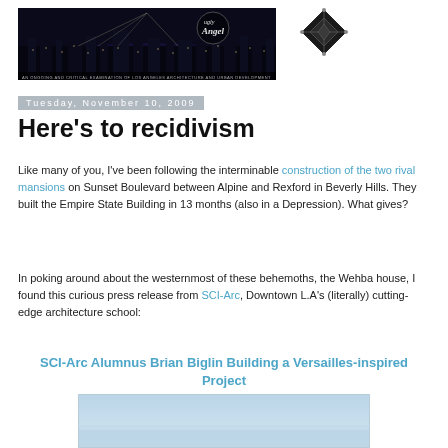[Figure (photo): Blog header banner showing night cityscape of Los Angeles with 'ugly Angel' branding text]
[Figure (logo): Diamond-shaped decorative logo with cross/lattice pattern]
Tuesday, November 10, 2009
Here's to recidivism
Like many of you, I've been following the interminable construction of the two rival mansions on Sunset Boulevard between Alpine and Rexford in Beverly Hills. They built the Empire State Building in 13 months (also in a Depression). What gives?
In poking around about the westernmost of these behemoths, the Wehba house, I found this curious press release from SCI-Arc, Downtown L.A's (literally) cutting-edge architecture school:
SCI-Arc Alumnus Brian Biglin Building a Versailles-inspired Project
[Figure (photo): Partial photo of a building or architectural rendering, light blue/grey tones]